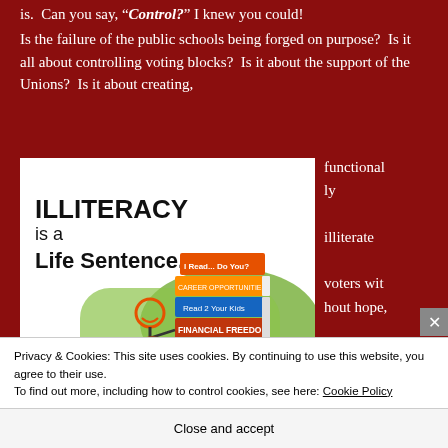is.  Can you say, "Control?" I knew you could!
Is the failure of the public schools being forged on purpose?  Is it all about controlling voting blocks?  Is it about the support of the Unions?  Is it about creating, functionally illiterate voters without hope,
[Figure (illustration): Illustration: 'ILLITERACY is a Life Sentence.' showing a stick figure chained to a ball labeled ILLITERACY, with a stack of books labeled 'I Read... Do You?', 'Career Opportunities', 'Read 2 Your Kids', 'Financial Freedom', 'Healthy, Wealthy & Wise']
Privacy & Cookies: This site uses cookies. By continuing to use this website, you agree to their use.
To find out more, including how to control cookies, see here: Cookie Policy
Close and accept